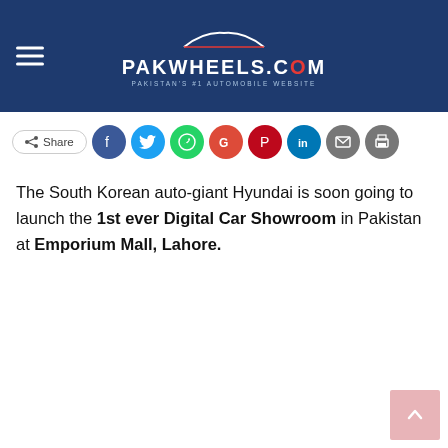PAKWHEELS.COM — PAKISTAN'S #1 AUTOMOBILE WEBSITE
[Figure (other): Social share bar with Share button and icons for Facebook, Twitter, WhatsApp, Google, Pinterest, LinkedIn, Email, and Print]
The South Korean auto-giant Hyundai is soon going to launch the 1st ever Digital Car Showroom in Pakistan at Emporium Mall, Lahore.